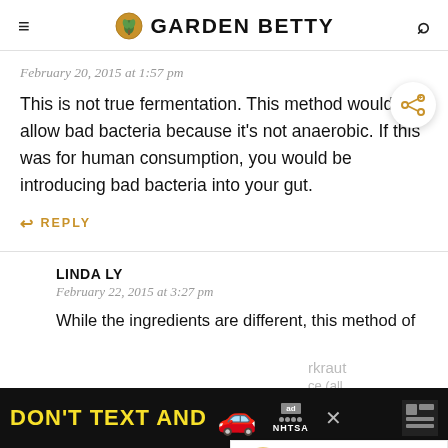GARDEN BETTY
February 20, 2015 at 1:57 pm
This is not true fermentation. This method would still allow bad bacteria because it's not anaerobic. If this was for human consumption, you would be introducing bad bacteria into your gut.
↩ REPLY
LINDA LY
February 22, 2015 at 3:27 pm
While the ingredients are different, this method of
[Figure (screenshot): Advertisement banner: DON'T TEXT AND [car emoji] with ad and NHTSA logos]